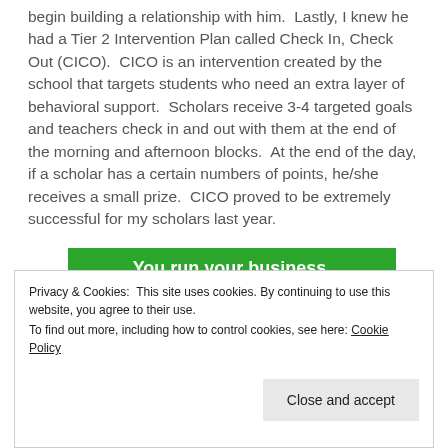begin building a relationship with him.  Lastly, I knew he had a Tier 2 Intervention Plan called Check In, Check Out (CICO).  CICO is an intervention created by the school that targets students who need an extra layer of behavioral support.  Scholars receive 3-4 targeted goals and teachers check in and out with them at the end of the morning and afternoon blocks.  At the end of the day, if a scholar has a certain numbers of points, he/she receives a small prize.  CICO proved to be extremely successful for my scholars last year.
[Figure (infographic): Green advertisement banner with white text 'You run your business.' and a white button with green text 'Secure Your Site']
Privacy & Cookies: This site uses cookies. By continuing to use this website, you agree to their use.
To find out more, including how to control cookies, see here: Cookie Policy